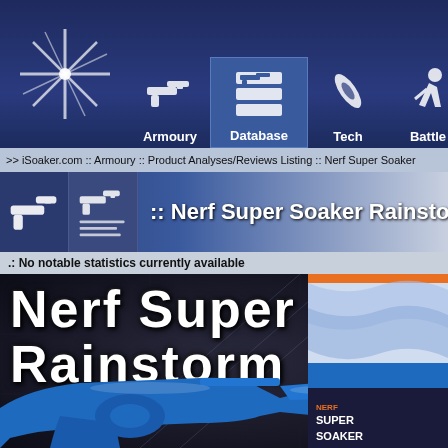[Figure (screenshot): iSoaker.com website navigation bar with Armoury, Database, Tech, and Battle sections]
>> iSoaker.com :: Armoury :: Product Analyses/Reviews Listing :: Nerf Super Soaker
:: Nerf Super Soaker Rainstorm
.: No notable statistics currently available
[Figure (photo): Nerf Super Soaker Rainstorm product page with large text overlay and blue water gun with Nerf box packaging visible]